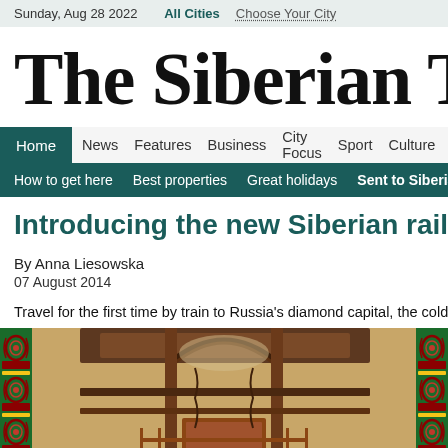Sunday, Aug 28 2022   All Cities   Choose Your City
The Siberian Times
Home  News  Features  Business  City Focus  Sport  Culture  Science  H  |  How to get here  Best properties  Great holidays  Sent to Siberia  Born
Introducing the new Siberian railway
By Anna Liesowska
07 August 2014
Travel for the first time by train to Russia's diamond capital, the coldest
[Figure (photo): Decorative railway train interior/exterior photograph showing ornate ironwork structure with red and green decorative side panels]